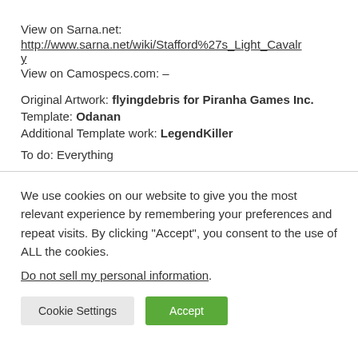View on Sarna.net:
http://www.sarna.net/wiki/Stafford%27s_Light_Cavalry
View on Camospecs.com: –
Original Artwork: flyingdebris for Piranha Games Inc.
Template: Odanan
Additional Template work: LegendKiller
To do: Everything
We use cookies on our website to give you the most relevant experience by remembering your preferences and repeat visits. By clicking "Accept", you consent to the use of ALL the cookies.
Do not sell my personal information.